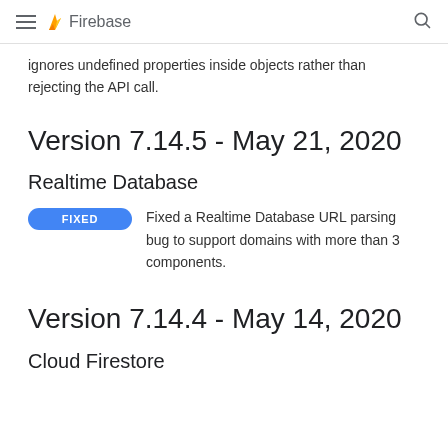Firebase
ignores undefined properties inside objects rather than rejecting the API call.
Version 7.14.5 - May 21, 2020
Realtime Database
FIXED Fixed a Realtime Database URL parsing bug to support domains with more than 3 components.
Version 7.14.4 - May 14, 2020
Cloud Firestore